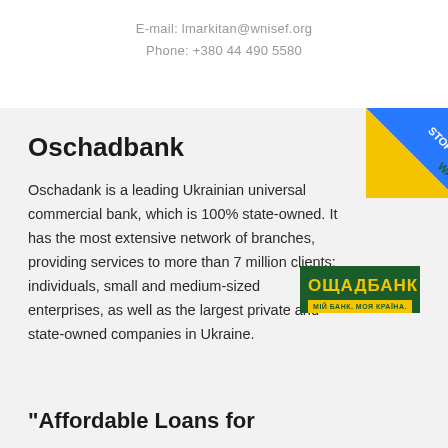E-mail: lmarkitan@wnisef.org
Phone: +380 44 490 5580
Oschadbank
[Figure (logo): Stop War badge - blue and yellow diagonal ribbon with STOP WAR text]
Oschadank is a leading Ukrainian universal commercial bank, which is 100% state-owned. It has the most extensive network of branches, providing services to more than 7 million clients: individuals, small and medium-sized enterprises, as well as the largest private and state-owned companies in Ukraine.
[Figure (logo): Oschadbank logo - green box with yellow Cyrillic text ОЩАДБАНК and yellow tagline МІЙ БАНК. МОЯ КРАЇНА.]
"Affordable Loans for